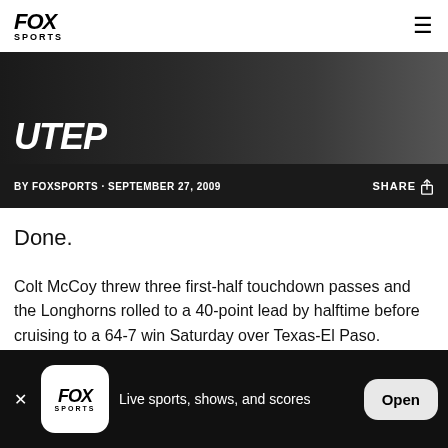FOX SPORTS
UTEP
BY FOXSPORTS · SEPTEMBER 27, 2009   SHARE
Done.
Colt McCoy threw three first-half touchdown passes and the Longhorns rolled to a 40-point lead by halftime before cruising to a 64-7 win Saturday over Texas-El Paso.
Live sports, shows, and scores   Open